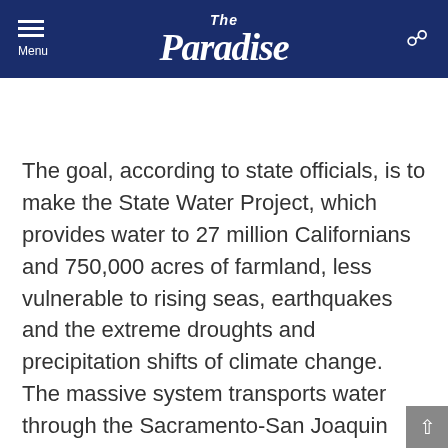The Paradise
The goal, according to state officials, is to make the State Water Project, which provides water to 27 million Californians and 750,000 acres of farmland, less vulnerable to rising seas, earthquakes and the extreme droughts and precipitation shifts of climate change. The massive system transports water through the Sacramento-San Joaquin River Delta to agencies and irrigation districts in the San Joaquin Valley, Southern California, the Central Coast and the Bay Area.